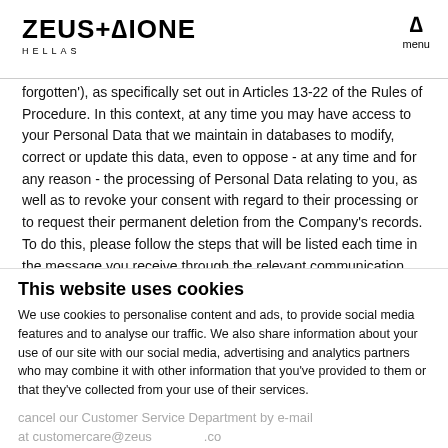ZEUS+DIONE HELLAS
forgotten'), as specifically set out in Articles 13-22 of the Rules of Procedure. In this context, at any time you may have access to your Personal Data that we maintain in databases to modify, correct or update this data, even to oppose - at any time and for any reason - the processing of Personal Data relating to you, as well as to revoke your consent with regard to their processing or to request their permanent deletion from the Company's records. To do this, please follow the steps that will be listed each time in the message you receive through the relevant communication medium (such as e-mail or SMS messages).
This website uses cookies
We use cookies to personalise content and ads, to provide social media features and to analyse our traffic. We also share information about your use of our site with our social media, advertising and analytics partners who may combine it with other information that you've provided to them or that they've collected from your use of their services.
Deny | Allow selection | Allow all
Necessary | Preferences | Statistics | Marketing | Show details
You may also at any time request that your Personal Data maintained in our records be permanently deleted, by contacting our Customer